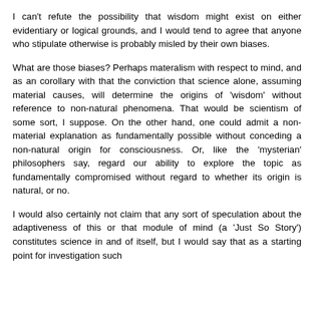I can't refute the possibility that wisdom might exist on either evidentiary or logical grounds, and I would tend to agree that anyone who stipulate otherwise is probably misled by their own biases.
What are those biases? Perhaps materalism with respect to mind, and as an corollary with that the conviction that science alone, assuming material causes, will determine the origins of 'wisdom' without reference to non-natural phenomena. That would be scientism of some sort, I suppose. On the other hand, one could admit a non-material explanation as fundamentally possible without conceding a non-natural origin for consciousness. Or, like the 'mysterian' philosophers say, regard our ability to explore the topic as fundamentally compromised without regard to whether its origin is natural, or no.
I would also certainly not claim that any sort of speculation about the adaptiveness of this or that module of mind (a 'Just So Story') constitutes science in and of itself, but I would say that as a starting point for investigation such speculation are of the the dominant starting involved